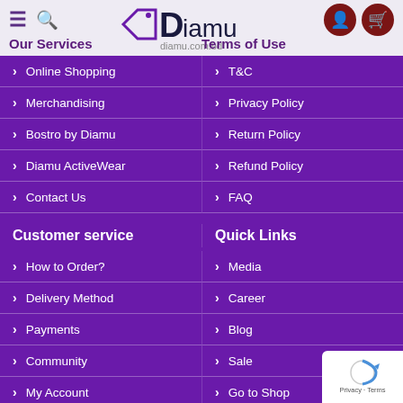Diamu diamu.com.bd
Our Services
Terms of Use
Online Shopping
T&C
Merchandising
Privacy Policy
Bostro by Diamu
Return Policy
Diamu ActiveWear
Refund Policy
Contact Us
FAQ
Customer service
Quick Links
How to Order?
Media
Delivery Method
Career
Payments
Blog
Community
Sale
My Account
Go to Shop